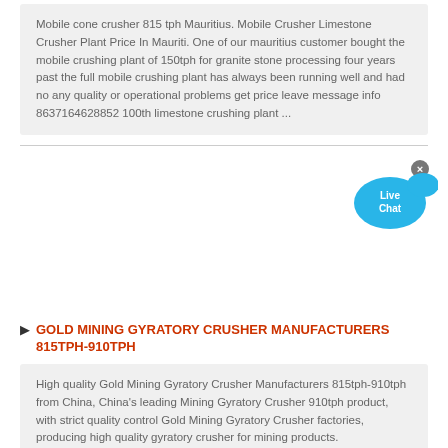Mobile cone crusher 815 tph Mauritius. Mobile Crusher Limestone Crusher Plant Price In Mauriti. One of our mauritius customer bought the mobile crushing plant of 150tph for granite stone processing four years past the full mobile crushing plant has always been running well and had no any quality or operational problems get price leave message info 8637164628852 100th limestone crushing plant ...
[Figure (illustration): Live Chat button with blue speech bubble icons and an X close button]
GOLD MINING GYRATORY CRUSHER MANUFACTURERS 815TPH-910TPH
High quality Gold Mining Gyratory Crusher Manufacturers 815tph-910tph from China, China's leading Mining Gyratory Crusher 910tph product, with strict quality control Gold Mining Gyratory Crusher factories, producing high quality gyratory crusher for mining products.
CANCIA 2500 VSI
2021-8-31 · The 2500 VSI features a dual motor drive with a capacity of up to 800 tph (725 mtph) Available in HD (Heavy Duty).